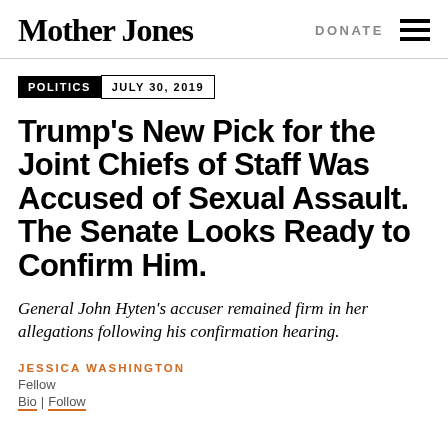Mother Jones | DONATE
POLITICS  JULY 30, 2019
Trump's New Pick for the Joint Chiefs of Staff Was Accused of Sexual Assault. The Senate Looks Ready to Confirm Him.
General John Hyten's accuser remained firm in her allegations following his confirmation hearing.
JESSICA WASHINGTON
Fellow
Bio | Follow